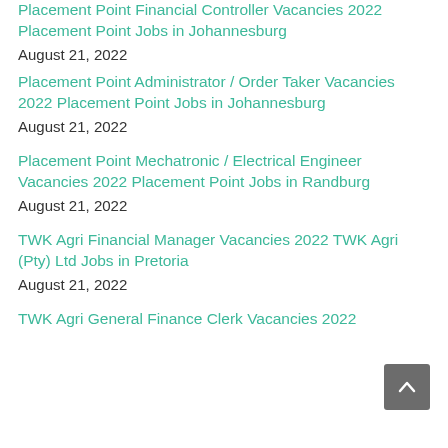Placement Point Financial Controller Vacancies 2022 Placement Point Jobs in Johannesburg
August 21, 2022
Placement Point Administrator / Order Taker Vacancies 2022 Placement Point Jobs in Johannesburg
August 21, 2022
Placement Point Mechatronic / Electrical Engineer Vacancies 2022 Placement Point Jobs in Randburg
August 21, 2022
TWK Agri Financial Manager Vacancies 2022 TWK Agri (Pty) Ltd Jobs in Pretoria
August 21, 2022
TWK Agri General Finance Clerk Vacancies 2022...